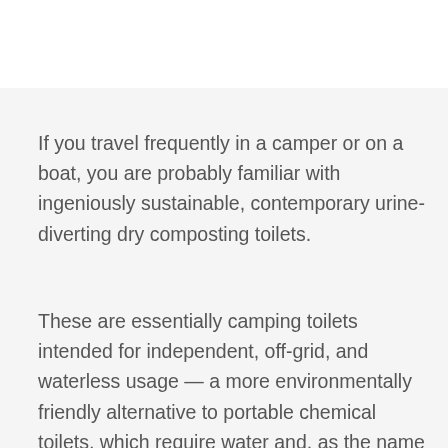If you travel frequently in a camper or on a boat, you are probably familiar with ingeniously sustainable, contemporary urine-diverting dry composting toilets.
These are essentially camping toilets intended for independent, off-grid, and waterless usage — a more environmentally friendly alternative to portable chemical toilets, which require water and, as the name implies, special